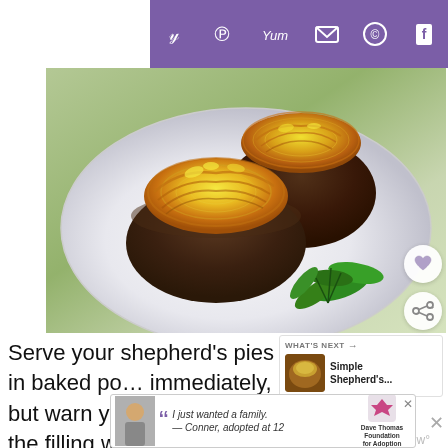[Figure (other): Purple social media sharing bar with icons: Twitter, Pinterest, Yummly, Email, WhatsApp, Flipboard]
[Figure (photo): Two shepherd's pies served in round baked potato/pastry shells topped with piped golden mashed potato, on a white plate with fresh parsley garnish]
[Figure (other): Heart (favorite) button - circular white button with heart icon]
[Figure (other): Share button - circular white button with share icon]
[Figure (other): What's Next widget showing thumbnail and text 'Simple Shepherd's...']
Serve your shepherd’s pies in baked po… immediately, but warn your diners that the filling wi…
[Figure (other): Advertisement banner: photo of young man with quote 'I just wanted a family. — Conner, adopted at 12' with Dave Thomas Foundation for Adoption logo]